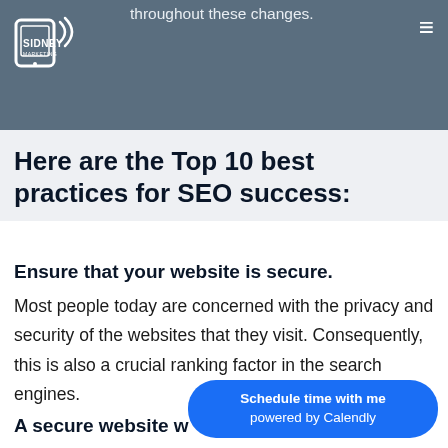throughout these changes.
Sidney Marketing logo and hamburger menu
Here are the Top 10 best practices for SEO success:
Ensure that your website is secure.
Most people today are concerned with the privacy and security of the websites that they visit. Consequently, this is also a crucial ranking factor in the search engines.
A secure website w...
[Figure (other): Calendly scheduling button overlay: 'Schedule time with me powered by Calendly']